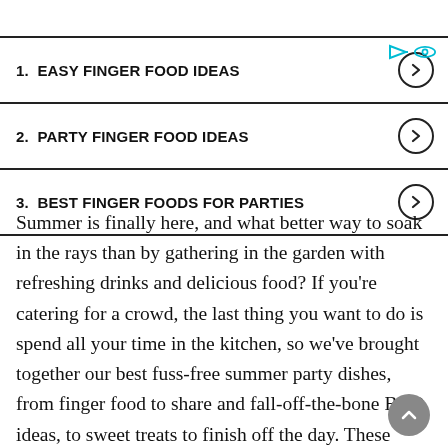1. EASY FINGER FOOD IDEAS
2. PARTY FINGER FOOD IDEAS
3. BEST FINGER FOODS FOR PARTIES
Summer is finally here, and what better way to soak in the rays than by gathering in the garden with refreshing drinks and delicious food? If you're catering for a crowd, the last thing you want to do is spend all your time in the kitchen, so we've brought together our best fuss-free summer party dishes, from finger food to share and fall-off-the-bone BBQ ideas, to sweet treats to finish off the day. These dishes all require minimal effort, which will lead to more relaxation in the sunshine. There are plenty of reasons to host a